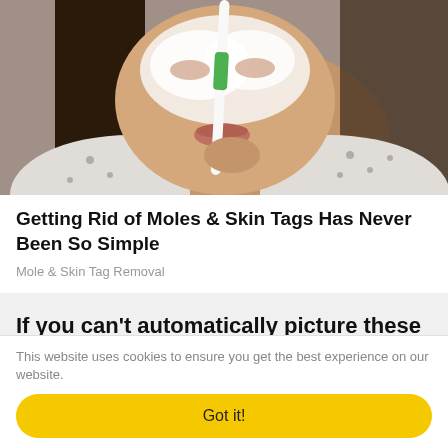[Figure (photo): Woman applying cream to face with a toothbrush]
Getting Rid of Moles & Skin Tags Has Never Been So Simple
Mole & Skin Tag Removal
If you can't automatically picture these female body types based on their measurements, the 'perfect' body looks like this:
This website uses cookies to ensure you get the best experience on our website.
Got it!